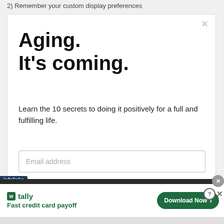2) Remember your custom display preferences
Aging.
It's coming.
Learn the 10 secrets to doing it positively for a full and fulfilling life.
Email address
[Figure (screenshot): Infolinks advertisement banner with Tally app promotion: 'Fast credit card payoff' with a 'Download Now' button]
infolinks